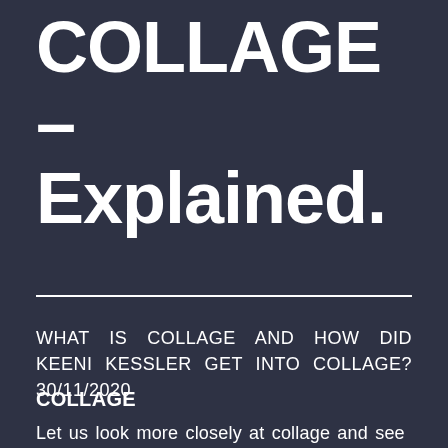COLLAGE – Explained.
WHAT IS COLLAGE AND HOW DID KEENI KESSLER GET INTO COLLAGE? 30/11/2020
COLLAGE
Let us look more closely at collage and see